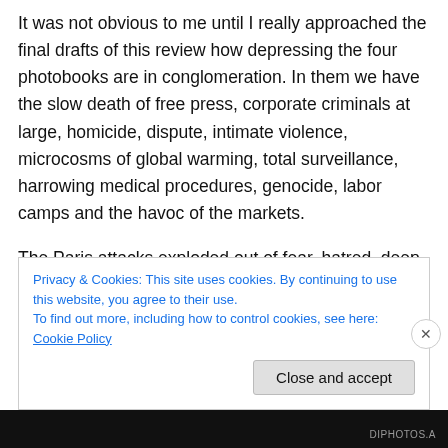It was not obvious to me until I really approached the final drafts of this review how depressing the four photobooks are in conglomeration. In them we have the slow death of free press, corporate criminals at large, homicide, dispute, intimate violence, microcosms of global warming, total surveillance, harrowing medical procedures, genocide, labor camps and the havoc of the markets.
The Paris attacks exploded out of fear, hatred, deep-level antipathy and dehumanisation. ISIS' acts of terror are a symptom of profound division: Western military meddling
Privacy & Cookies: This site uses cookies. By continuing to use this website, you agree to their use.
To find out more, including how to control cookies, see here: Cookie Policy